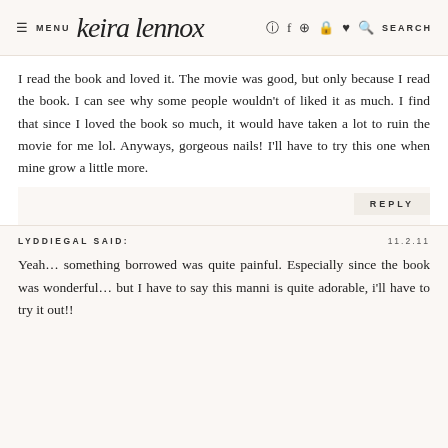≡ MENU  keira lennox  [icons] SEARCH
I read the book and loved it. The movie was good, but only because I read the book. I can see why some people wouldn't of liked it as much. I find that since I loved the book so much, it would have taken a lot to ruin the movie for me lol. Anyways, gorgeous nails! I'll have to try this one when mine grow a little more.
REPLY
LYDDIEGAL SAID:
11.2.11
Yeah… something borrowed was quite painful. Especially since the book was wonderful… but I have to say this manni is quite adorable, i'll have to try it out!!